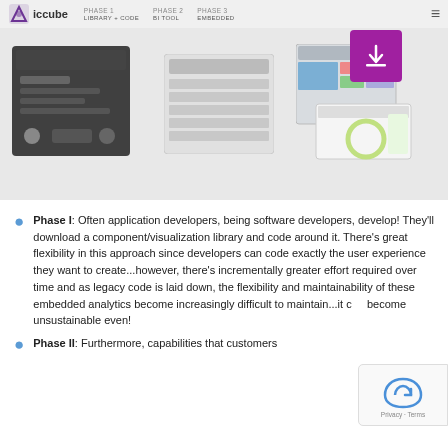iccube | PHASE 1: LIBRARY + CODE | PHASE 2: BI TOOL | PHASE 3: EMBEDDED
[Figure (screenshot): Three phase thumbnails showing library/code, BI tool, and embedded analytics screenshots, with a purple download button overlay in the top-right area.]
Phase I: Often application developers, being software developers, develop! They'll download a component/visualization library and code around it. There's great flexibility in this approach since developers can code exactly the user experience they want to create...however, there's incrementally greater effort required over time and as legacy code is laid down, the flexibility and maintainability of these embedded analytics become increasingly difficult to maintain...it can become unsustainable even!
Phase II: Furthermore, capabilities that customers